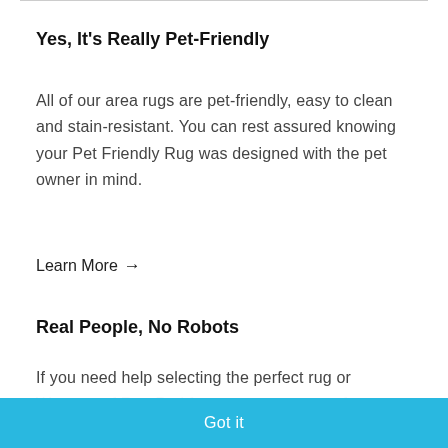Yes, It's Really Pet-Friendly
All of our area rugs are pet-friendly, easy to clean and stain-resistant. You can rest assured knowing your Pet Friendly Rug was designed with the pet owner in mind.
Learn More →
Real People, No Robots
If you need help selecting the perfect rug or Waterproof Rug Pad for your space, one of our experts will be happy to assist you. Please don't hesitate to reach out. We are here to help!
This website uses cookies to ensure you get the best experience on our website. Learn more
Got it